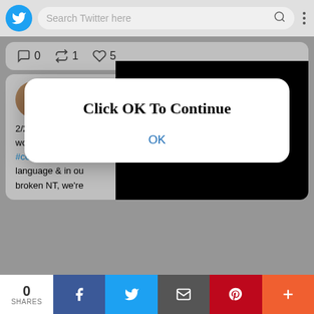[Figure (screenshot): Twitter mobile app screenshot showing search bar with Twitter logo, two tweet cards, a popup modal dialog saying 'Click OK To Continue' with an OK button, an embedded video player, and a social share bar at the bottom with 0 SHARES, Facebook, Twitter, email, Pinterest, and more buttons.]
Search Twitter here
0 1 5
Asiatu Coach
@AsiatuCoach
4 days ago
2/2 ND ppl esp #ActuallyAutistic #AuDHDers PD are in an ableist world which is foreign & unnatural to us, being perceived #community we language & in ou broken NT, we're
Click OK To Continue
OK
0
SHARES